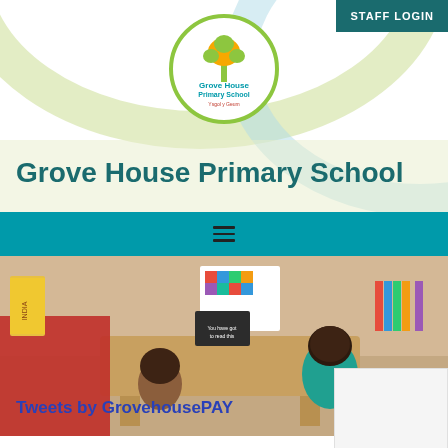[Figure (logo): Grove House Primary School circular logo with tree illustration and Welsh text]
STAFF LOGIN
Grove House Primary School
[Figure (photo): Classroom photo showing two children with dark hair sitting at a wooden desk, surrounded by books and colourful displays including an Elmer elephant poster]
Tweets by GrovehousePAY